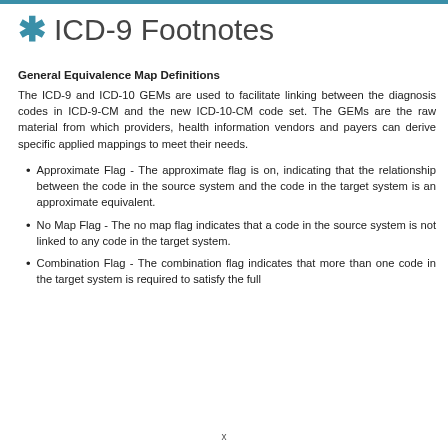ICD-9 Footnotes
General Equivalence Map Definitions
The ICD-9 and ICD-10 GEMs are used to facilitate linking between the diagnosis codes in ICD-9-CM and the new ICD-10-CM code set. The GEMs are the raw material from which providers, health information vendors and payers can derive specific applied mappings to meet their needs.
Approximate Flag - The approximate flag is on, indicating that the relationship between the code in the source system and the code in the target system is an approximate equivalent.
No Map Flag - The no map flag indicates that a code in the source system is not linked to any code in the target system.
Combination Flag - The combination flag indicates that more than one code in the target system is required to satisfy the full
x